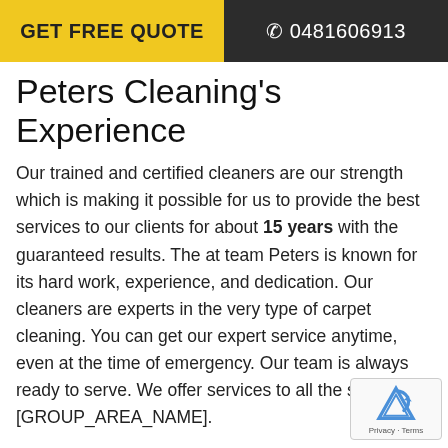GET FREE QUOTE  ☎ 0481606913
Peters Cleaning's Experience
Our trained and certified cleaners are our strength which is making it possible for us to provide the best services to our clients for about 15 years with the guaranteed results. The at team Peters is known for its hard work, experience, and dedication. Our cleaners are experts in the very type of carpet cleaning. You can get our expert service anytime, even at the time of emergency. Our team is always ready to serve. We offer services to all the suburbs of [GROUP_AREA_NAME].
To provide the best cleaning solution for your carpet so that you can get rid of these problems, we use latest equipment and technologies. We provide a